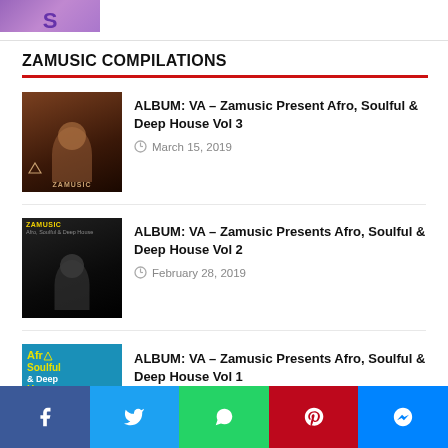[Figure (photo): Partial image of a person at the top of the page, purple/pink tones]
ZAMUSIC COMPILATIONS
[Figure (photo): Album cover: VA – Zamusic Present Afro, Soulful & Deep House Vol 3, woman with afro]
ALBUM: VA – Zamusic Present Afro, Soulful & Deep House Vol 3
March 15, 2019
[Figure (photo): Album cover: VA – Zamusic Presents Afro, Soulful & Deep House Vol 2, dark background]
ALBUM: VA – Zamusic Presents Afro, Soulful & Deep House Vol 2
February 28, 2019
[Figure (photo): Album cover: VA – Zamusic Presents Afro, Soulful & Deep House Vol 1, cyan background with yellow text]
ALBUM: VA – Zamusic Presents Afro, Soulful & Deep House Vol 1
January 20, 2019
[Figure (infographic): Social sharing bar with Facebook, Twitter, WhatsApp, Pinterest, Messenger buttons]